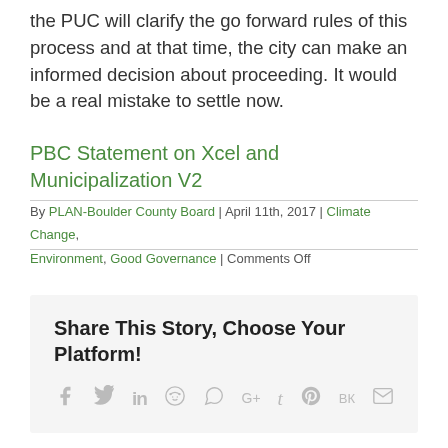the PUC will clarify the go forward rules of this process and at that time, the city can make an informed decision about proceeding. It would be a real mistake to settle now.
PBC Statement on Xcel and Municipalization V2
By PLAN-Boulder County Board | April 11th, 2017 | Climate Change, Environment, Good Governance | Comments Off
Share This Story, Choose Your Platform!